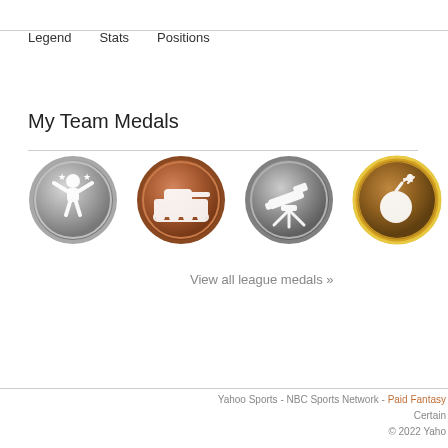Legend   Stats   Positions
My Team Medals
[Figure (illustration): Four circular medal badges in a row: silver badge with person/trophy icon, bronze badge with tank icon, gray badge with telescope icon, gold-rimmed badge with bomb/explosion icon]
View all league medals »
Yahoo Sports - NBC Sports Network - Paid Fantasy  Certain  © 2022 Yaho